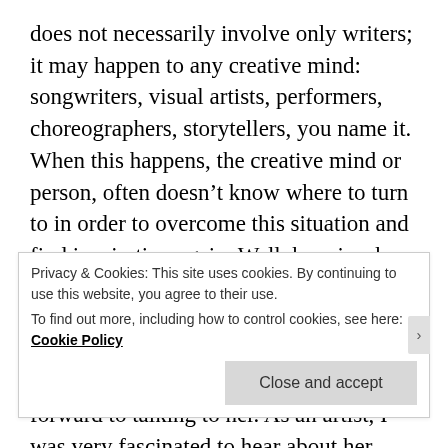does not necessarily involve only writers; it may happen to any creative mind: songwriters, visual artists, performers, choreographers, storytellers, you name it.  When this happens, the creative mind or person, often doesn't know where to turn to in order to overcome this situation and find inspiration again. Well, here is where Catching Fireworks fits in!

I was so thrilled when I first heard of Deborah Henry Pollard and I was looking forward to talking to her. As an artist, I was very fascinated to hear about her creative coaching and was interested to
Privacy & Cookies: This site uses cookies. By continuing to use this website, you agree to their use.
To find out more, including how to control cookies, see here: Cookie Policy